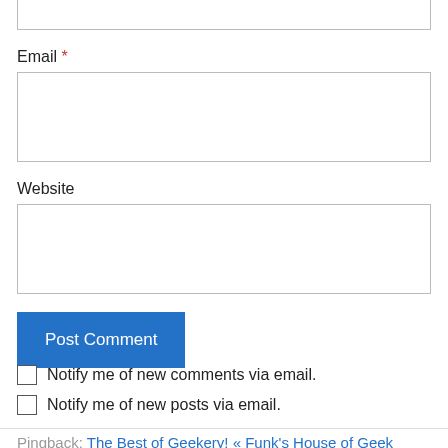Email *
Website
Post Comment
Notify me of new comments via email.
Notify me of new posts via email.
Pingback: The Best of Geekery! « Funk's House of Geek…